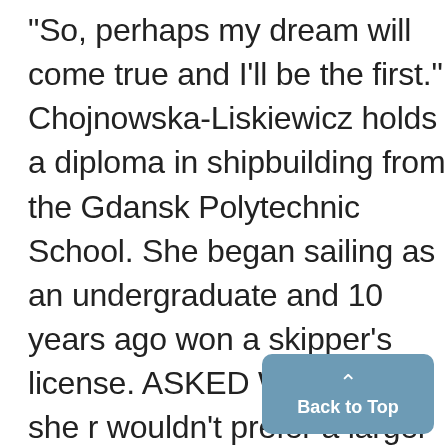"So, perhaps my dream will come true and I'll be the first." Chojnowska-Liskiewicz holds a diploma in shipbuilding from the Gdansk Polytechnic School. She began sailing as an undergraduate and 10 years ago won a skipper's license. ASKED WHETHER she r wouldn't prefer a larger boat for the voyage, she said: "You need plenty of physical strength to sail large yachts. And de- spite my sailing experience,
[Figure (other): A blue rounded-rectangle button labeled 'Back to Top' with an upward-pointing caret arrow, positioned at the bottom-right of the page.]